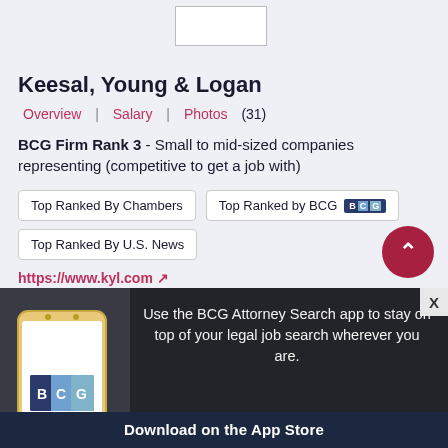[Figure (logo): Logo placeholder box at the top center]
Keesal, Young & Logan
Overview | Salary | Photos (31)
BCG Firm Rank 3 - Small to mid-sized companies representing (competitive to get a job with)
Top Ranked By Chambers
Top Ranked by BCG
Top Ranked By U.S. News
https://www.kyl.com ↗
Write a Review →
[Figure (illustration): Smartphone with BCG Attorney Search logo on screen]
Use the BCG Attorney Search app to stay on top of your legal job search wherever you are.
Download on the App Store